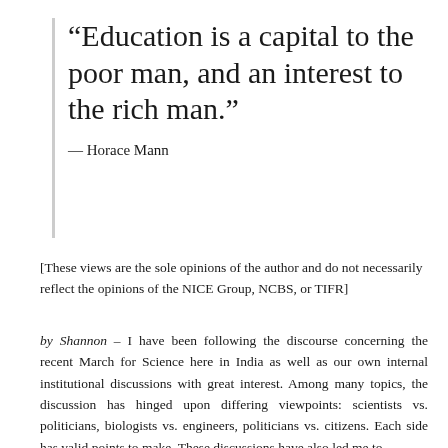“Education is a capital to the poor man, and an interest to the rich man.”
— Horace Mann
[These views are the sole opinions of the author and do not necessarily reflect the opinions of the NICE Group, NCBS, or TIFR]
by Shannon – I have been following the discourse concerning the recent March for Science here in India as well as our own internal institutional discussions with great interest. Among many topics, the discussion has hinged upon differing viewpoints: scientists vs. politicians, biologists vs. engineers, politicians vs. citizens. Each side has valid points to make. These discussions have also led me to